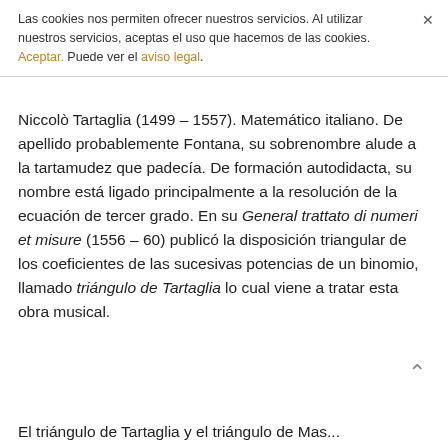Las cookies nos permiten ofrecer nuestros servicios. Al utilizar nuestros servicios, aceptas el uso que hacemos de las cookies. Aceptar. Puede ver el aviso legal.
Niccolò Tartaglia (1499 – 1557). Matemático italiano. De apellido probablemente Fontana, su sobrenombre alude a la tartamudez que padecía. De formación autodidacta, su nombre está ligado principalmente a la resolución de la ecuación de tercer grado. En su General trattato di numeri et misure (1556 – 60) publicó la disposición triangular de los coeficientes de las sucesivas potencias de un binomio, llamado triángulo de Tartaglia lo cual viene a tratar esta obra musical.
El triángulo de Tartaglia y el triángulo de Mas...